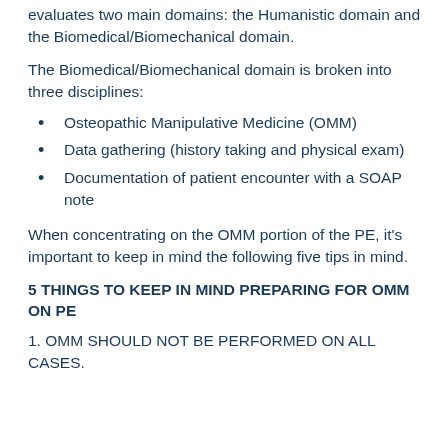evaluates two main domains: the Humanistic domain and the Biomedical/Biomechanical domain.
The Biomedical/Biomechanical domain is broken into three disciplines:
Osteopathic Manipulative Medicine (OMM)
Data gathering (history taking and physical exam)
Documentation of patient encounter with a SOAP note
When concentrating on the OMM portion of the PE, it's important to keep in mind the following five tips in mind.
5 THINGS TO KEEP IN MIND PREPARING FOR OMM ON PE
1. OMM SHOULD NOT BE PERFORMED ON ALL CASES.